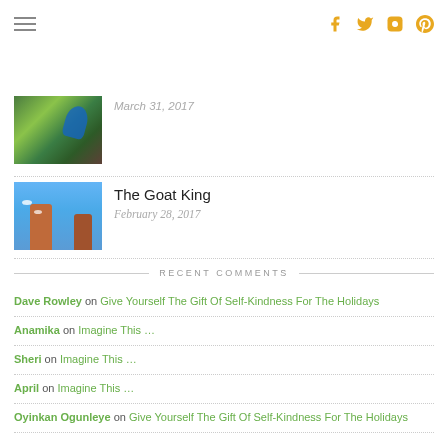Navigation and social icons: hamburger menu, facebook, twitter, instagram, pinterest
March 31, 2017
[Figure (photo): Thumbnail photo of a person in green outdoors scene]
[Figure (photo): Thumbnail artwork of goat king painting on blue wooden planks with orange figure]
The Goat King
February 28, 2017
RECENT COMMENTS
Dave Rowley on Give Yourself The Gift Of Self-Kindness For The Holidays
Anamika on Imagine This …
Sheri on Imagine This …
April on Imagine This …
Oyinkan Ogunleye on Give Yourself The Gift Of Self-Kindness For The Holidays